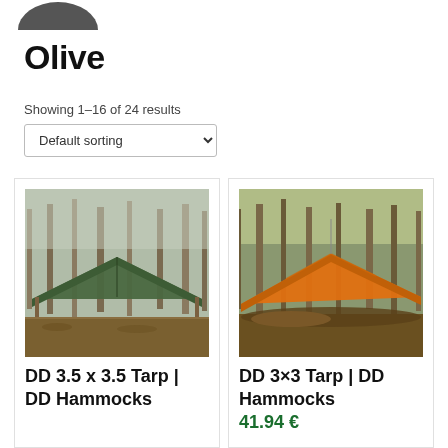[Figure (other): Partial logo at top of page]
Olive
Showing 1–16 of 24 results
Default sorting (dropdown select)
[Figure (photo): Olive/dark green DD 3.5x3.5 tarp set up as a shelter between trees in a woodland setting]
DD 3.5 x 3.5 Tarp | DD Hammocks
[Figure (photo): Orange DD 3x3 tarp set up as a shelter in a woodland setting]
DD 3×3 Tarp | DD Hammocks
41.94 €